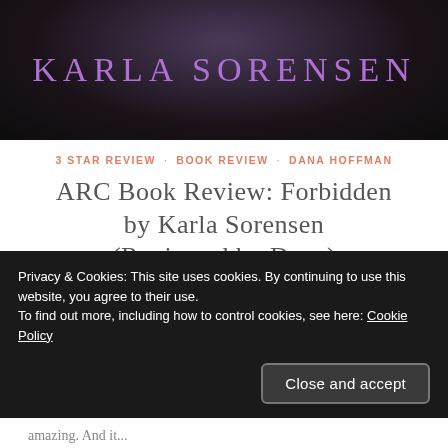[Figure (illustration): Dark banner image with purple text 'KARLA SORENSEN' on a dark background with radial gradient]
3 STAR REVIEW · BOOK REVIEW · DANA HOFFMAN
ARC BOOK REVIEW: FORBIDDEN BY KARLA SORENSEN (REVIEWED BY DANA)
June 7, 2021 · Leave a comment
Review Rating: ★★★ Well, I needed a bit of time to
Privacy & Cookies: This site uses cookies. By continuing to use this website, you agree to their use.
To find out more, including how to control cookies, see here: Cookie Policy
amazing. And it...